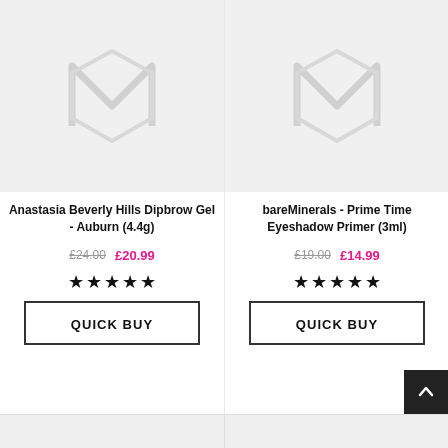[Figure (screenshot): Product placeholder image with Magento logo watermark for Anastasia Beverly Hills Dipbrow Gel - Auburn (4.4g)]
Anastasia Beverly Hills Dipbrow Gel - Auburn (4.4g)
£24.00  £20.99
[Figure (other): 4 star rating (stars)]
QUICK BUY
[Figure (screenshot): Product placeholder image with Magento logo watermark for bareMinerals - Prime Time Eyeshadow Primer (3ml)]
bareMinerals - Prime Time Eyeshadow Primer (3ml)
£19.00  £14.99
[Figure (other): 4 star rating (stars)]
QUICK BUY